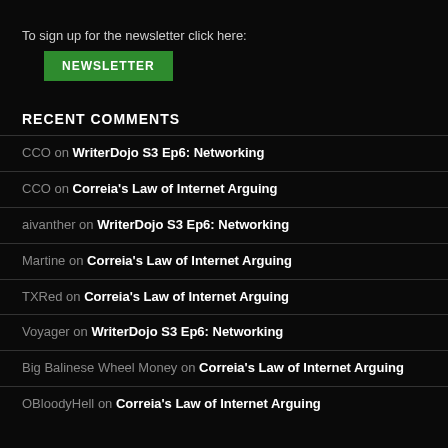To sign up for the newsletter click here:
NEWSLETTER
RECENT COMMENTS
CCO on WriterDojo S3 Ep6: Networking
CCO on Correia's Law of Internet Arguing
aivanther on WriterDojo S3 Ep6: Networking
Martine on Correia's Law of Internet Arguing
TXRed on Correia's Law of Internet Arguing
Voyager on WriterDojo S3 Ep6: Networking
Big Balinese Wheel Money on Correia's Law of Internet Arguing
OBloodyHell on Correia's Law of Internet Arguing